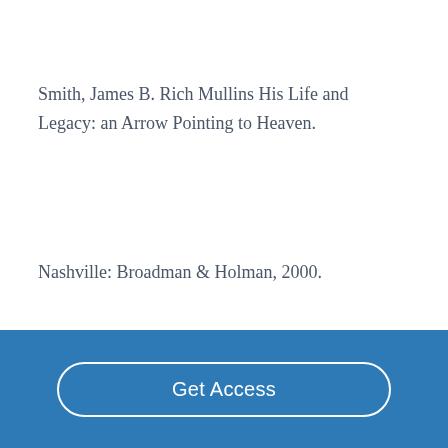Smith, James B. Rich Mullins His Life and Legacy: an Arrow Pointing to Heaven.
Nashville: Broadman & Holman, 2000.
Get Access